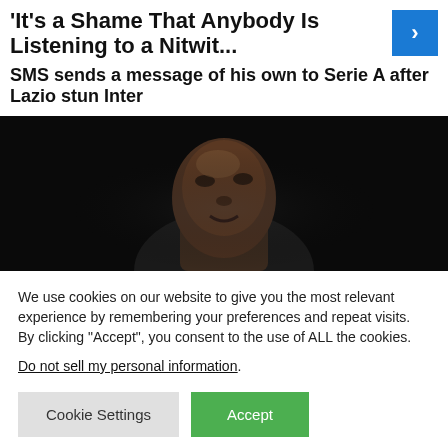'It's a Shame That Anybody Is Listening to a Nitwit...
SMS sends a message of his own to Serie A after Lazio stun Inter
[Figure (photo): Close-up portrait of a Black male footballer looking upward against a dark background]
We use cookies on our website to give you the most relevant experience by remembering your preferences and repeat visits. By clicking "Accept", you consent to the use of ALL the cookies.
Do not sell my personal information.